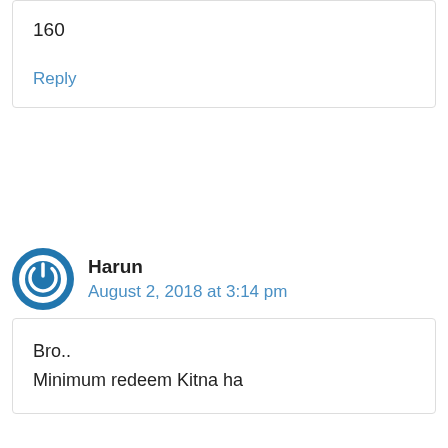160
Reply
Harun
August 2, 2018 at 3:14 pm
Bro..
Minimum redeem Kitna ha